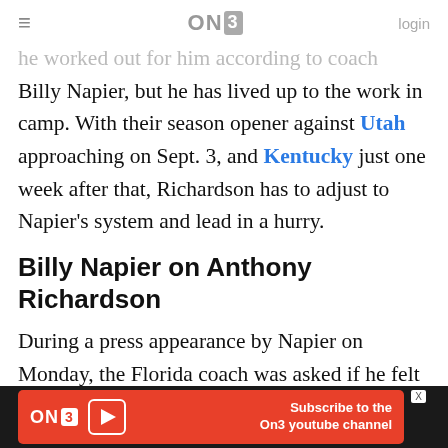≡  ON3  login
he worked out for him according to coach Billy Napier, but he has lived up to the work in camp. With their season opener against Utah approaching on Sept. 3, and Kentucky just one week after that, Richardson has to adjust to Napier's system and lead in a hurry.
Billy Napier on Anthony Richardson
During a press appearance by Napier on Monday, the Florida coach was asked if he felt like Richardson was progressing at the rate he needs him to.
[Figure (other): ON3 advertisement bar: Subscribe to the On3 youtube channel]